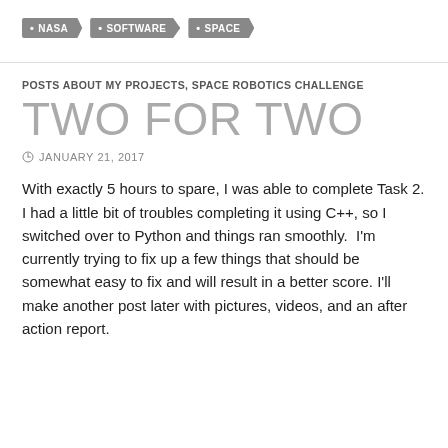• NASA
• SOFTWARE
• SPACE
POSTS ABOUT MY PROJECTS, SPACE ROBOTICS CHALLENGE
TWO FOR TWO
JANUARY 21, 2017
With exactly 5 hours to spare, I was able to complete Task 2. I had a little bit of troubles completing it using C++, so I switched over to Python and things ran smoothly.  I'm currently trying to fix up a few things that should be somewhat easy to fix and will result in a better score. I'll make another post later with pictures, videos, and an after action report.